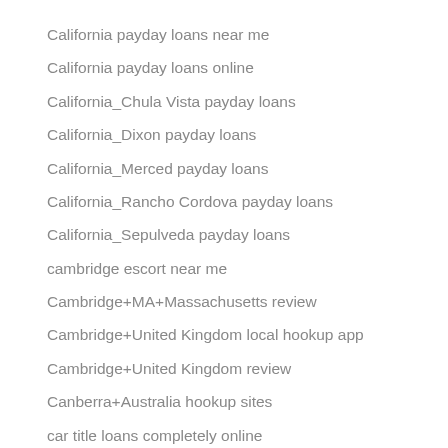California payday loans near me
California payday loans online
California_Chula Vista payday loans
California_Dixon payday loans
California_Merced payday loans
California_Rancho Cordova payday loans
California_Sepulveda payday loans
cambridge escort near me
Cambridge+MA+Massachusetts review
Cambridge+United Kingdom local hookup app
Cambridge+United Kingdom review
Canberra+Australia hookup sites
car title loans completely online
car title loans review
Cardiff+United Kingdom review